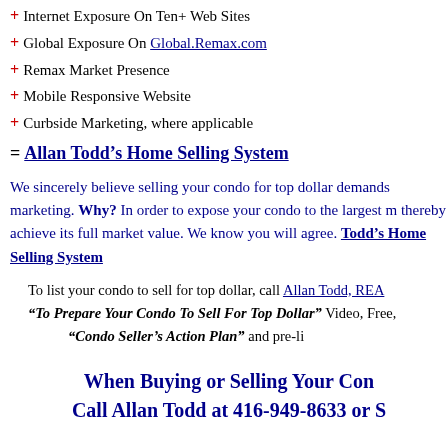+ Internet Exposure On Ten+ Web Sites
+ Global Exposure On Global.Remax.com
+ Remax Market Presence
+ Mobile Responsive Website
+ Curbside Marketing, where applicable
= Allan Todd’s Home Selling System
We sincerely believe selling your condo for top dollar demands marketing. Why? In order to expose your condo to the largest market, thereby achieve its full market value. We know you will agree. Call Allan Todd’s Home Selling System
To list your condo to sell for top dollar, call Allan Todd, REAL
"To Prepare Your Condo To Sell For Top Dollar" Video, Free, "Condo Seller’s Action Plan" and pre-li
When Buying or Selling Your Condo Call Allan Todd at 416-949-8633 or S